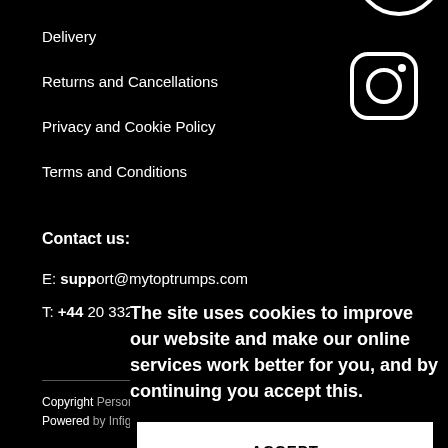[Figure (illustration): Partial white circle/icon at top right, cropped]
Delivery
Returns and Cancellations
Privacy and Cookie Policy
Terms and Conditions
[Figure (illustration): Instagram icon - white outlined square with rounded corners and circle inside, on black background]
Contact us:
E: support@mytoptrumps.com
T: +44 20 3322 3396
The site uses cookies to improve our website and make our online services work better for you, and by continuing you accept this.
Copyright Personalise Products Ltd - 2020
Powered by Infigo Software